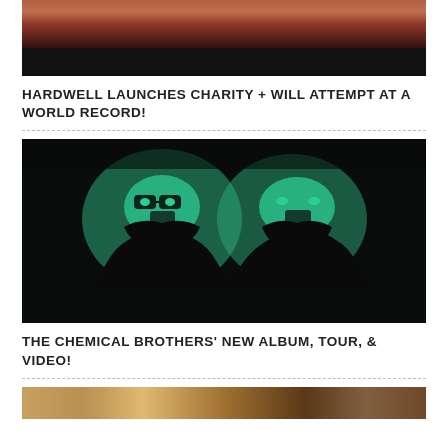[Figure (photo): Cropped top portion of a photo, mostly dark with warm skin tones visible at top]
HARDWELL LAUNCHES CHARITY + WILL ATTEMPT AT A WORLD RECORD!
[Figure (photo): Stylized silhouette image of two figures (Chemical Brothers) with teal/green highlighted facial features against a dark background]
THE CHEMICAL BROTHERS' NEW ALBUM, TOUR, & VIDEO!
[Figure (photo): Partial bottom image, colorful warm tones, partially cut off]